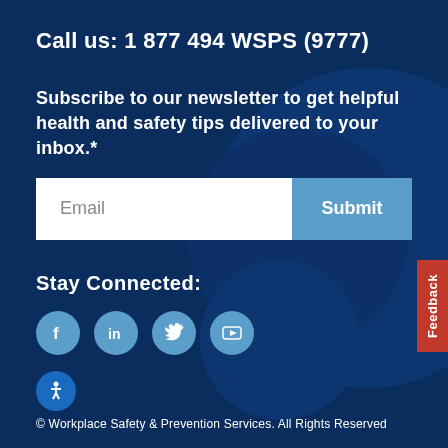Call us: 1 877 494 WSPS (9777)
Subscribe to our newsletter to get helpful health and safety tips delivered to your inbox.*
[Figure (other): Email input field with white background and Submit button in light blue]
[Figure (other): Red vertical feedback tab on right edge]
Stay Connected:
[Figure (other): Social media icons: Facebook, LinkedIn, Twitter, YouTube - all in teal/blue circles]
[Figure (other): Accessibility icon (person with circle) in blue circle]
© Workplace Safety & Prevention Services. All Rights Reserved